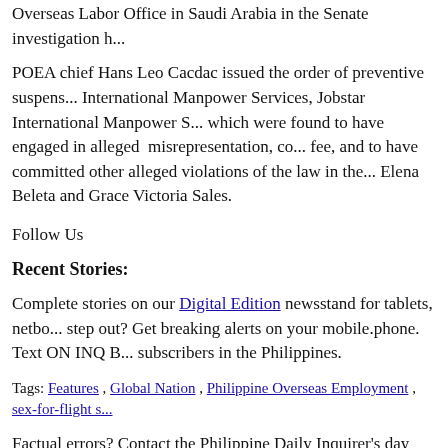Overseas Labor Office in Saudi Arabia in the Senate investigation h...
POEA chief Hans Leo Cacdac issued the order of preventive suspens... International Manpower Services, Jobstar International Manpower S... which were found to have engaged in alleged misrepresentation, co... fee, and to have committed other alleged violations of the law in the... Elena Beleta and Grace Victoria Sales.
Follow Us
Recent Stories:
Complete stories on our Digital Edition newsstand for tablets, netbo... step out? Get breaking alerts on your mobile.phone. Text ON INQ B... subscribers in the Philippines.
Tags: Features , Global Nation , Philippine Overseas Employment , sex-for-flight s...
Factual errors? Contact the Philippine Daily Inquirer's day desk. Be... the Inquirer's Reader's Advocate. Or write The Readers' Advocate:
c/o Philippine Daily Inquirer Chino Roces Avenue corner Yague and... Philippines Or fax nos. +63 2 8974793 to 94
Posted by idalangin at 1:25 am  Add comments